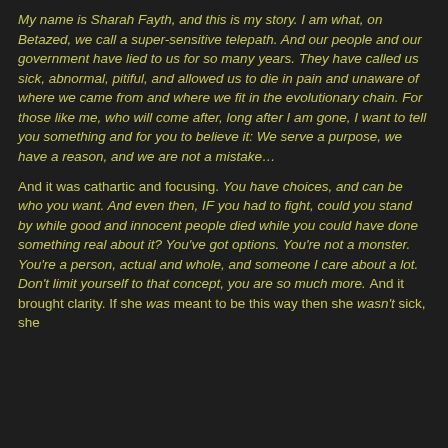My name is Sharah Fayth, and this is my story. I am what, on Betazed, we call a super-sensitive telepath. And our people and our government have lied to us for so many years. They have called us sick, abnormal, pitiful, and allowed us to die in pain and unaware of where we came from and where we fit in the evolutionary chain. For those like me, who will come after, long after I am gone, I want to tell you something and for you to believe it: We serve a purpose, we have a reason, and we are not a mistake…
And it was cathartic and focusing. You have choices, and can be who you want. And even then, IF you had to fight, could you stand by while good and innocent people died while you could have done something real about it? You've got options. You're not a monster. You're a person, actual and whole, and someone I care about a lot. Don't limit yourself to that concept, you are so much more. And it brought clarity. If she was meant to be this way then she wasn't sick, she